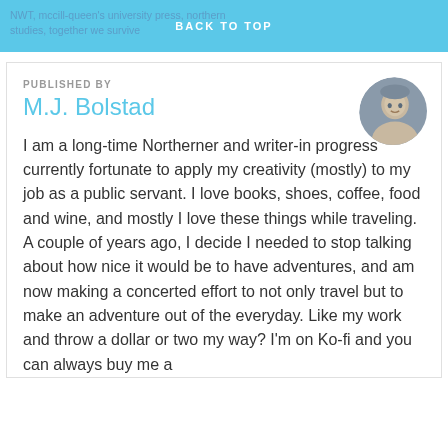NWT, mccill-queen's university press, northern studies, together we survive
BACK TO TOP
PUBLISHED BY
M.J. Bolstad
[Figure (photo): Circular avatar photo of M.J. Bolstad]
I am a long-time Northerner and writer-in progress currently fortunate to apply my creativity (mostly) to my job as a public servant. I love books, shoes, coffee, food and wine, and mostly I love these things while traveling. A couple of years ago, I decide I needed to stop talking about how nice it would be to have adventures, and am now making a concerted effort to not only travel but to make an adventure out of the everyday. Like my work and throw a dollar or two my way? I'm on Ko-fi and you can always buy me a